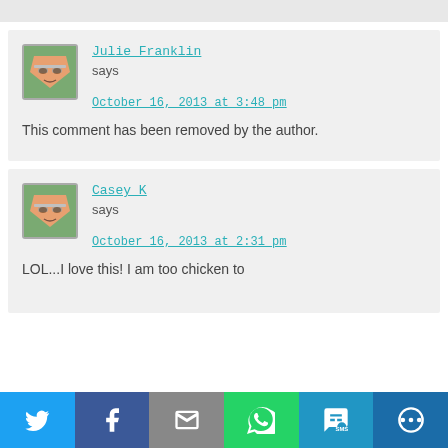[Figure (screenshot): Top grey bar at top of page]
Julie Franklin says
October 16, 2013 at 3:48 pm
This comment has been removed by the author.
Casey K says
October 16, 2013 at 2:31 pm
LOL...I love this! I am too chicken to
[Figure (infographic): Social share bar with Twitter, Facebook, Email, WhatsApp, SMS, and More buttons]